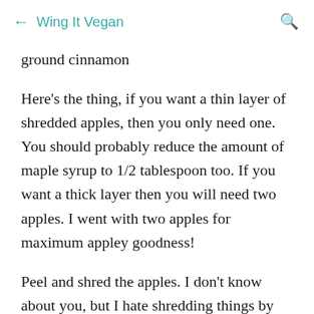← Wing It Vegan 🔍
ground cinnamon
Here's the thing, if you want a thin layer of shredded apples, then you only need one. You should probably reduce the amount of maple syrup to 1/2 tablespoon too. If you want a thick layer then you will need two apples. I went with two apples for maximum appley goodness!
Peel and shred the apples. I don't know about you, but I hate shredding things by hand! My food processor took care of that chore for me. Isn't he